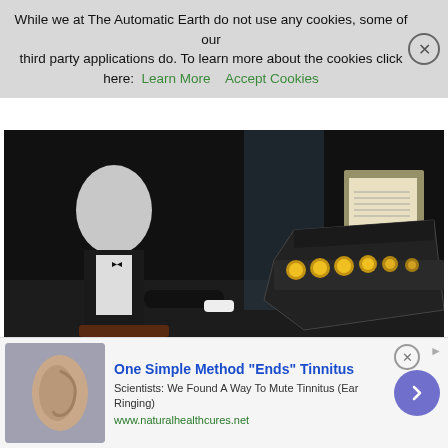While we at The Automatic Earth do not use any cookies, some of our third party applications do. To learn more about the cookies click here: Learn More   Accept Cookies
[Figure (photo): Salvador Dali surrealist painting showing a figure seated at a grand piano with glowing orbs (images of Lenin) on the piano keys, in a dark room setting. Sheet music is visible on the piano stand.]
Salvador Dali Hallucination. Six Images of Lenin on a Grand Piano 1931
[Figure (infographic): Advertisement banner: 'One Simple Method "Ends" Tinnitus' - Scientists: We Found A Way To Mute Tinnitus (Ear Ringing). www.naturalhealthcures.net. Shows an image of an ear on the left and a circular arrow button on the right.]